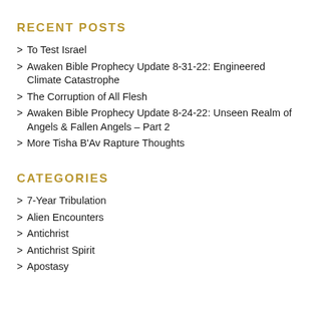RECENT POSTS
To Test Israel
Awaken Bible Prophecy Update 8-31-22: Engineered Climate Catastrophe
The Corruption of All Flesh
Awaken Bible Prophecy Update 8-24-22: Unseen Realm of Angels & Fallen Angels – Part 2
More Tisha B'Av Rapture Thoughts
CATEGORIES
7-Year Tribulation
Alien Encounters
Antichrist
Antichrist Spirit
Apostasy